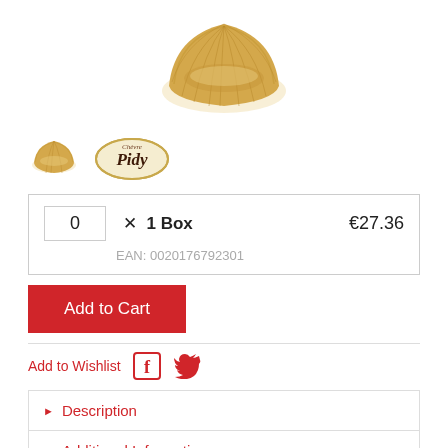[Figure (photo): Overhead photo of a single ridged pastry shell/tart case on white background]
[Figure (photo): Small thumbnail of pastry shell and Pidy brand logo]
| Qty |  | Unit | Price |
| --- | --- | --- | --- |
| 0 | X | 1 Box | €27.36 |
|  |  | EAN: 0020176792301 |  |
Add to Cart
Add to Wishlist
Description
Additional Information